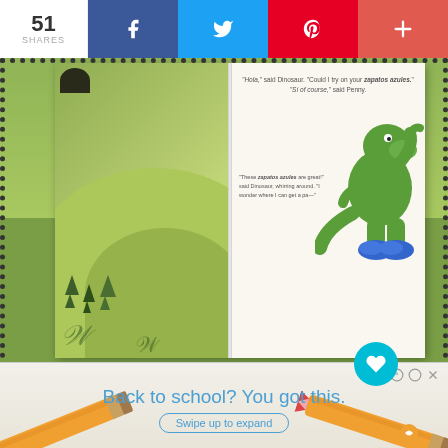51 SHARES | Facebook | Twitter | Pinterest | Plus
[Figure (photo): An open children's book showing a green dinosaur wearing blue sneakers on the right page, with text about 'zapatos azules', and a nature landscape on the left page]
1
[Figure (infographic): What's Next panel: 15 Activities To Encourag...]
[Figure (screenshot): Ad banner: Back to school? You got this. Swipe up to expand]